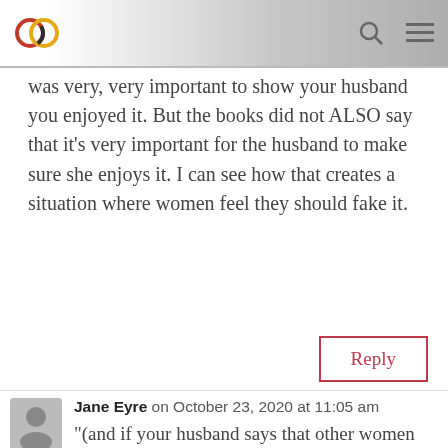[Figure (logo): Circular chain link logo in red, yellow, and dark tones]
was very, very important to show your husband you enjoyed it. But the books did not ALSO say that it's very important for the husband to make sure she enjoys it. I can see how that creates a situation where women feel they should fake it.
Reply
Jane Eyre on October 23, 2020 at 11:05 am
"(and if your husband says that other women had no complaints, you can add:)"
You are so much kinder than I am,